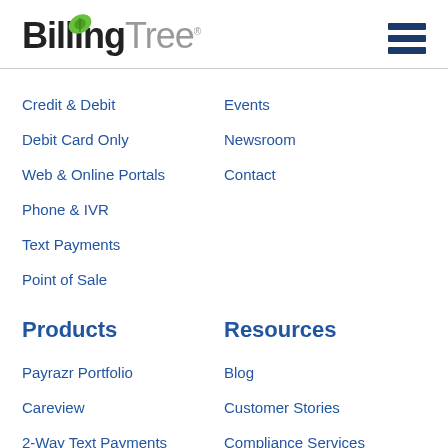[Figure (logo): BillingTree logo with green leaf above the 'i' in Billing]
Credit & Debit
Events
Debit Card Only
Newsroom
Web & Online Portals
Contact
Phone & IVR
Text Payments
Point of Sale
Products
Resources
Payrazr Portfolio
Blog
Careview
Customer Stories
2-Way Text Payments
Compliance Services
Account Updater
Development Center